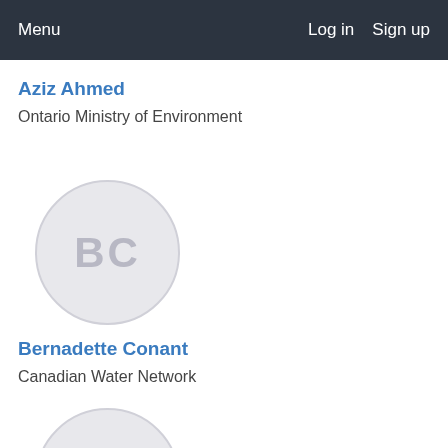Menu   Log in   Sign up
Aziz Ahmed
Ontario Ministry of Environment
[Figure (illustration): Avatar circle with initials BC for Bernadette Conant]
Bernadette Conant
Canadian Water Network
[Figure (illustration): Avatar circle with initials ME, partially visible at bottom of page]